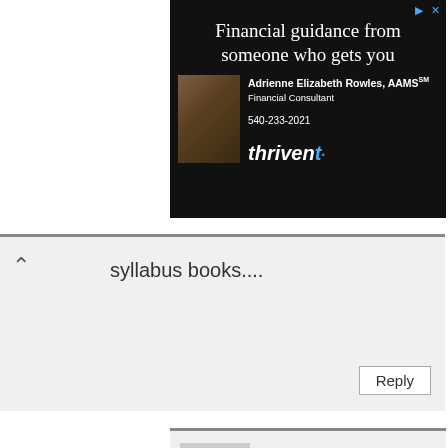[Figure (screenshot): Advertisement banner for Thrivent financial services featuring text 'Financial guidance from someone who gets you', advisor Adrienne Elizabeth Rowles AAMS, Financial Consultant, phone 540-233-2021, and Thrivent logo on dark background]
syllabus books....
Reply
Fareen.
March 15, 2016 at 7:25 am
Iam not asking you Mr Feroz...
Don't give ans roughly...
Reply
Fareen.
March 15, 2016 at 7:29 am
Sorry...